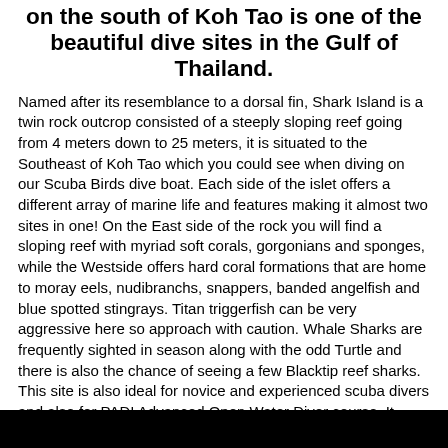on the south of Koh Tao is one of the beautiful dive sites in the Gulf of Thailand.
Named after its resemblance to a dorsal fin, Shark Island is a twin rock outcrop consisted of a steeply sloping reef going from 4 meters down to 25 meters, it is situated to the Southeast of Koh Tao which you could see when diving on our Scuba Birds dive boat. Each side of the islet offers a different array of marine life and features making it almost two sites in one! On the East side of the rock you will find a sloping reef with myriad soft corals, gorgonians and sponges, while the Westside offers hard coral formations that are home to moray eels, nudibranchs, snappers, banded angelfish and blue spotted stingrays. Titan triggerfish can be very aggressive here so approach with caution. Whale Sharks are frequently sighted in season along with the odd Turtle and there is also the chance of seeing a few Blacktip reef sharks. This site is also ideal for novice and experienced scuba divers and also for PADI Advanced Open Water Diver course. It offers great snorkeling around Koh Tao as well.